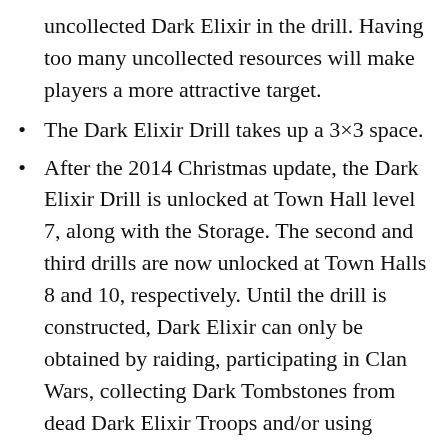uncollected Dark Elixir in the drill. Having too many uncollected resources will make players a more attractive target.
The Dark Elixir Drill takes up a 3×3 space.
After the 2014 Christmas update, the Dark Elixir Drill is unlocked at Town Hall level 7, along with the Storage. The second and third drills are now unlocked at Town Halls 8 and 10, respectively. Until the drill is constructed, Dark Elixir can only be obtained by raiding, participating in Clan Wars, collecting Dark Tombstones from dead Dark Elixir Troops and/or using Gems.
When you choose to upgrade a Dark Elixir Drill, it will automatically collect any